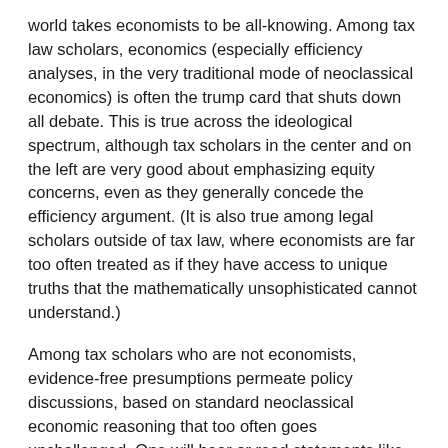world takes economists to be all-knowing. Among tax law scholars, economics (especially efficiency analyses, in the very traditional mode of neoclassical economics) is often the trump card that shuts down all debate. This is true across the ideological spectrum, although tax scholars in the center and on the left are very good about emphasizing equity concerns, even as they generally concede the efficiency argument. (It is also true among legal scholars outside of tax law, where economists are far too often treated as if they have access to unique truths that the mathematically unsophisticated cannot understand.)
Among tax scholars who are not economists, evidence-free presumptions permeate policy discussions, based on standard neoclassical economic reasoning that too often goes unchallenged. One will hear or read statements like, "We all know that taxes are inefficient," and the souped-up version, "It is established by economists that the inefficiency of a tax goes up by the square of the tax rate." This is all based on an acceptance of theory, not an assessment of evidence. (The latter statement, indeed, is supposed to substitute for evidence, because it purports to show that any